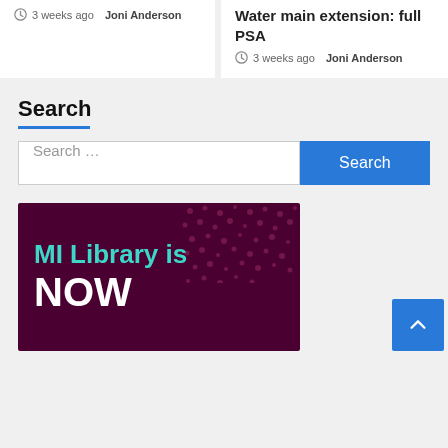3 weeks ago  Joni Anderson
Water main extension: full PSA
3 weeks ago  Joni Anderson
Search
Search ...
Search
[Figure (illustration): Dark purple banner with teal and white text reading 'MI Library is NOW' with a dotted pattern in the background]